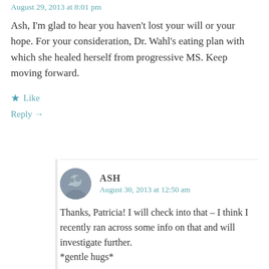August 29, 2013 at 8:01 pm
Ash, I'm glad to hear you haven't lost your will or your hope. For your consideration, Dr. Wahl's eating plan with which she healed herself from progressive MS. Keep moving forward.
★ Like
Reply →
ASH
August 30, 2013 at 12:50 am
Thanks, Patricia! I will check into that – I think I recently ran across some info on that and will investigate further.
*gentle hugs*